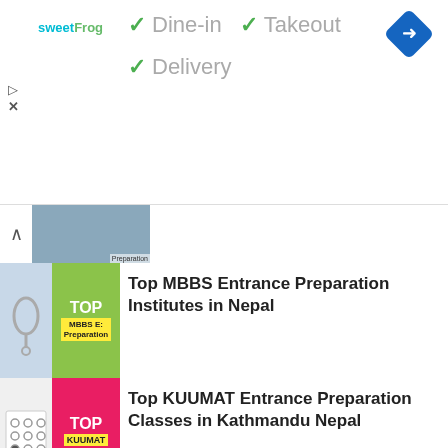[Figure (screenshot): Ad banner for sweetFrog restaurant showing Dine-in, Takeout, Delivery options with green checkmarks and a blue navigation icon]
[Figure (screenshot): Partially visible thumbnail of Nursing Entrance Preparation with chevron up arrow]
[Figure (photo): Thumbnail image for Top MBBS Entrance Preparation Institutes in Nepal - shows stethoscope on left, green banner with TOP MBBS text on right]
Top MBBS Entrance Preparation Institutes in Nepal
[Figure (photo): Thumbnail image for Top KUUMAT Entrance Preparation Classes in Kathmandu Nepal - shows answer sheet on left, pink/red banner with TOP KUUMAT on right]
Top KUUMAT Entrance Preparation Classes in Kathmandu Nepal
[Figure (photo): Thumbnail image for Best IOE Engineering Entrance Preparation - shows circuit board purple background with TOP text]
Best IOE Engineering Entrance Preparation (BE B.Arch BSc CSIT) Classes in Kathmandu Nepal